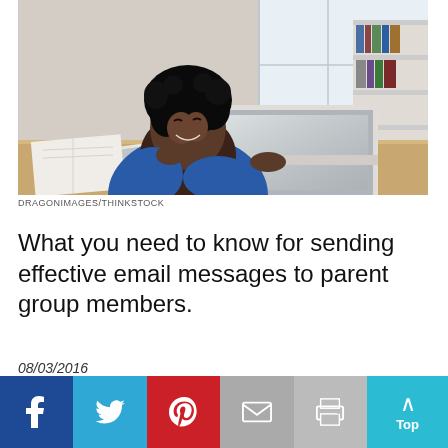[Figure (photo): A smiling Black woman in a blue sleeveless top sitting at a desk in an office, working on a laptop. A tablet and notebook are on the desk beside her. There is shelving and a window in the background.]
DRAGONIMAGES/THINKSTOCK
What you need to know for sending effective email messages to parent group members.
08/03/2016
[Figure (infographic): Social sharing bar with buttons: Facebook (dark blue, f icon), Twitter (light blue, bird icon), Pinterest (red, P icon), Email (gray, envelope icon), Print (light gray, printer icon), Top (teal, up arrow and 'Top' label)]